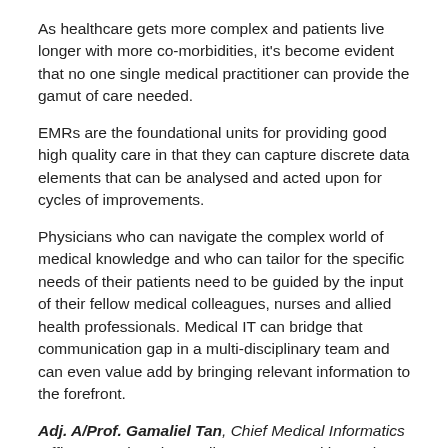As healthcare gets more complex and patients live longer with more co-morbidities, it's become evident that no one single medical practitioner can provide the gamut of care needed.
EMRs are the foundational units for providing good high quality care in that they can capture discrete data elements that can be analysed and acted upon for cycles of improvements.
Physicians who can navigate the complex world of medical knowledge and who can tailor for the specific needs of their patients need to be guided by the input of their fellow medical colleagues, nurses and allied health professionals. Medical IT can bridge that communication gap in a multi-disciplinary team and can even value add by bringing relevant information to the forefront.
Adj. A/Prof. Gamaliel Tan, Chief Medical Informatics Officer; Head, Orthopaedics, Jurong Health Services, Singapore
The American Medical Association defines the term “physician-led” in the context of team-based care as the consistent use by a physician of the leadership knowledge, skills and expertise